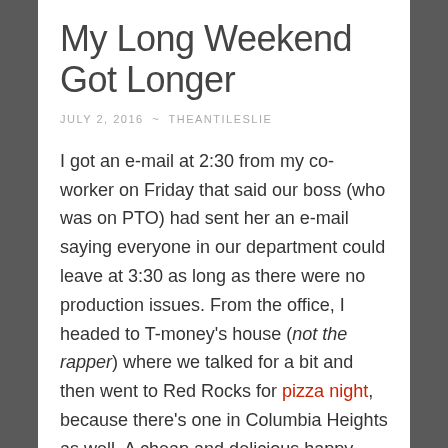My Long Weekend Got Longer
JULY 2, 2016 ~ THEANTILESLIE
I got an e-mail at 2:30 from my co-worker on Friday that said our boss (who was on PTO) had sent her an e-mail saying everyone in our department could leave at 3:30 as long as there were no production issues. From the office, I headed to T-money's house (not the rapper) where we talked for a bit and then went to Red Rocks for pizza night, because there’s one in Columbia Heights as well. A cheap and delicious happy hour never hurt anybody. 🙂 After that, we ended up talking until I was fading fast, and I went home glad that I had that friend I could just call for